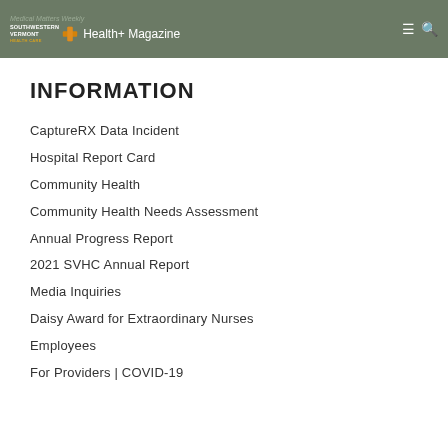Medical Matters Weekly
Southwestern Vermont Health+ Magazine
INFORMATION
CaptureRX Data Incident
Hospital Report Card
Community Health
Community Health Needs Assessment
Annual Progress Report
2021 SVHC Annual Report
Media Inquiries
Daisy Award for Extraordinary Nurses
Employees
For Providers | COVID-19